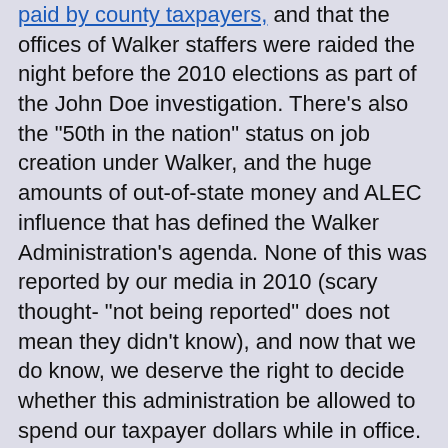paid by county taxpayers, and that the offices of Walker staffers were raided the night before the 2010 elections as part of the John Doe investigation. There's also the "50th in the nation" status on job creation under Walker, and the huge amounts of out-of-state money and ALEC influence that has defined the Walker Administration's agenda. None of this was reported by our media in 2010 (scary thought- "not being reported" does not mean they didn't know), and now that we do know, we deserve the right to decide whether this administration be allowed to spend our taxpayer dollars while in office.
And further, the J-S demanding that recalls not happen when politicians lie, cheat and ram through legislation that the people do not approve of goes against all marks of a functioning democracy where politicians have the "consent of the governed", i.e., the PEOPLE. What the J-S wants is to have a small society make the rules for the people, and have the media report on how it affects their small Village of friends. Meanwhile, they expect us to follow like a bunch of brain-dead suckers. NO SALE GUYS. Much like I mentioned earlier this month on the state media's failures to hold Walker